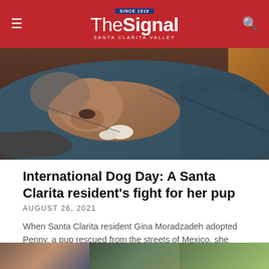The Signal — Santa Clarita Valley
[Figure (photo): A dog lying on a dark teal blanket on a brown leather couch, nose visible, resting peacefully]
International Dog Day: A Santa Clarita resident's fight for her pup
AUGUST 26, 2021
When Santa Clarita resident Gina Moradzadeh adopted Penny, a pup rescued from the streets of Mexico, she never expected that what appeared to be a
« PREVIOUS    NEXT »